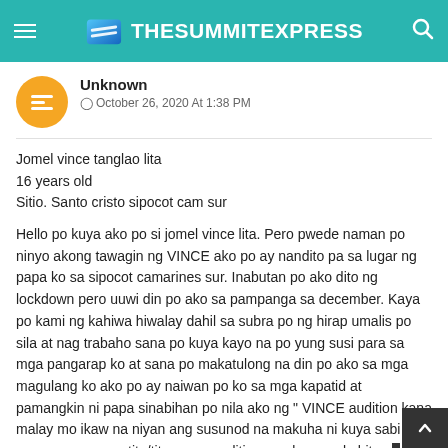TheSummitExpress
Unknown
© October 26, 2020 At 1:38 PM
Jomel vince tanglao lita
16 years old
Sitio. Santo cristo sipocot cam sur

Hello po kuya ako po si jomel vince lita. Pero pwede naman po ninyo akong tawagin ng VINCE ako po ay nandito pa sa lugar ng papa ko sa sipocot camarines sur. Inabutan po ako dito ng lockdown pero uuwi din po ako sa pampanga sa december. Kaya po kami ng kahiwa hiwalay dahil sa subra po ng hirap umalis po sila at nag trabaho sana po kuya kayo na po yung susi para sa mga pangarap ko at sana po makatulong na din po ako sa mga magulang ko ako po ay naiwan po ko sa mga kapatid at pamangkin ni papa sinabihan po nila ako ng " VINCE audition kana malay mo ikaw na niyan ang susunod na makuha ni kuya sabi ko namn po sege po tita/tito mag aaudition po ako pero kahit ang audition ko di po ako sumusuko kahit na po di ako mak... marami pa naman pong pag kakataon try in try lang po sabi ko sa sarili at sinabi ko po sa mga magulang ko po kabit p...